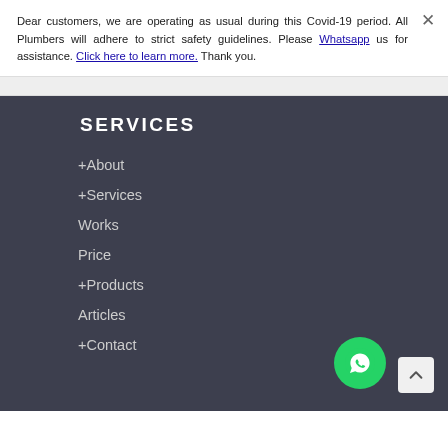Dear customers, we are operating as usual during this Covid-19 period. All Plumbers will adhere to strict safety guidelines. Please Whatsapp us for assistance. Click here to learn more. Thank you.
SERVICES
+About
+Services
Works
Price
+Products
Articles
+Contact